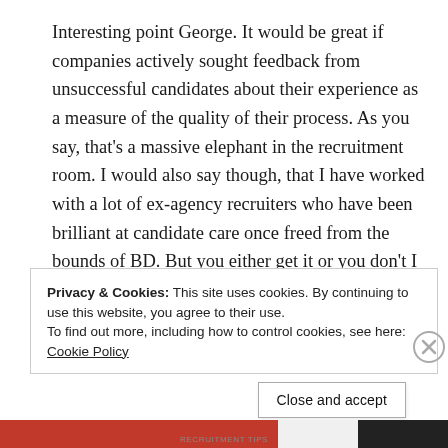Interesting point George. It would be great if companies actively sought feedback from unsuccessful candidates about their experience as a measure of the quality of their process. As you say, that's a massive elephant in the recruitment room. I would also say though, that I have worked with a lot of ex-agency recruiters who have been brilliant at candidate care once freed from the bounds of BD. But you either get it or you don't I guess.
Privacy & Cookies: This site uses cookies. By continuing to use this website, you agree to their use.
To find out more, including how to control cookies, see here: Cookie Policy